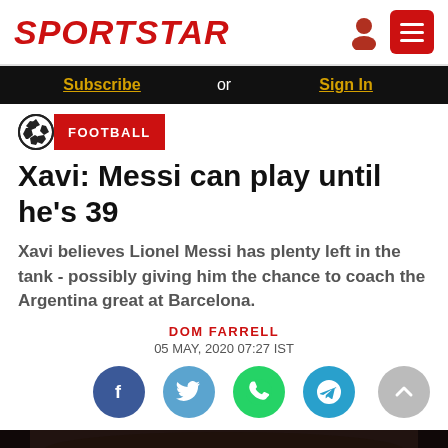SPORTSTAR
Subscribe or Sign In
FOOTBALL
Xavi: Messi can play until he's 39
Xavi believes Lionel Messi has plenty left in the tank - possibly giving him the chance to coach the Argentina great at Barcelona.
DOM FARRELL
05 MAY, 2020 07:27 IST
[Figure (other): Social sharing icons: Facebook, Twitter, WhatsApp, Telegram, and scroll-to-top button]
[Figure (photo): Bottom portion of sports photo showing players in a stadium crowd setting]